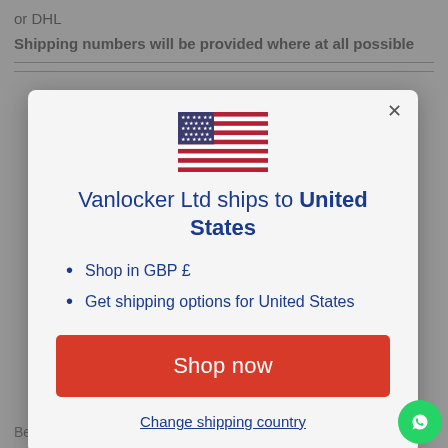or DHL
Shipping numbers will be provided where at all possible
[Figure (illustration): US flag emoji/illustration]
Vanlocker Ltd ships to United States
Shop in GBP £
Get shipping options for United States
Shop now
Change shipping country
Belgium, Canada, Denmark, France, Germany, Ireland,